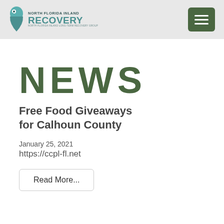North Florida Inland Recovery
NEWS
Free Food Giveaways for Calhoun County
January 25, 2021
https://ccpl-fl.net
Read More...